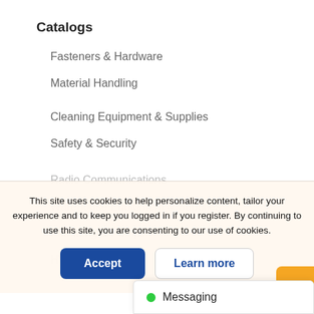Catalogs
Fasteners & Hardware
Material Handling
Cleaning Equipment & Supplies
Safety & Security
This site uses cookies to help personalize content, tailor your experience and to keep you logged in if you register. By continuing to use this site, you are consenting to our use of cookies.
Accept
Learn more
Radio Communications
Warehouse Equipment & Supplies
Plumbing & Pumps
HVAC
Messaging